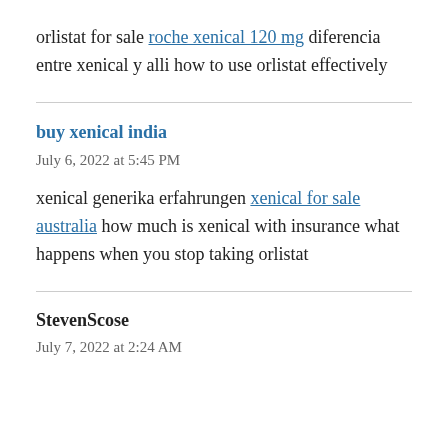orlistat for sale roche xenical 120 mg diferencia entre xenical y alli how to use orlistat effectively
buy xenical india
July 6, 2022 at 5:45 PM
xenical generika erfahrungen xenical for sale australia how much is xenical with insurance what happens when you stop taking orlistat
StevenScose
July 7, 2022 at 2:24 AM